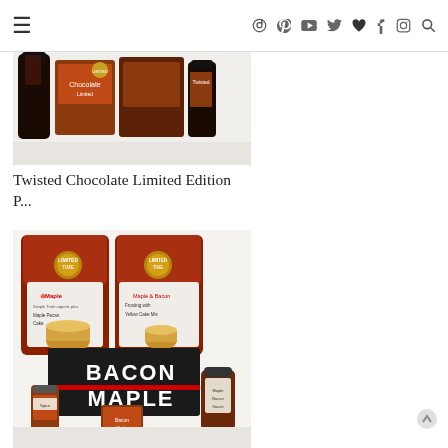≡  Pinterest YouTube Twitter Loveit Facebook Instagram Search
[Figure (photo): Twisted Chocolate Limited Edition products arranged on a white surface — bottles and packages]
Twisted Chocolate Limited Edition P...
[Figure (photo): Bacon and Maple Limited Edition products — Maple Pecan Cake mix bag, Maple & Bacon Frosting with Yellow Cake Mix bag, Bacon Maple box, small spice jar, and sauce bottle arranged on a white surface]
Bacon and Maple Limited